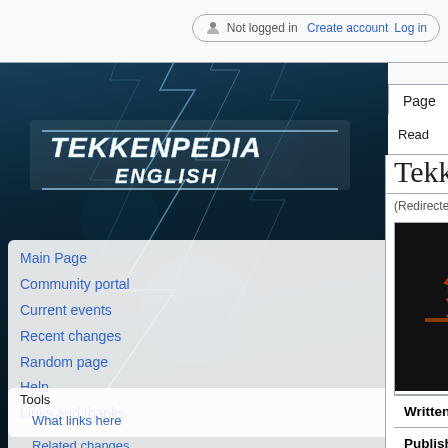Not logged in  Create account  Log in
Page  Discussion  Read  Edit  View history  Search
[Figure (logo): Tekkenpedia English logo with lightning bolt background]
Main Page
Community portal
Current events
Recent changes
Random page
Help
Links and thanks
Tools
What links here
Related changes
Special pages
Printable version
Permanent link
Tekken Comic
(Redirected from Online Tekken Comic)
[Figure (logo): Tekken Comic logo image with Japanese characters and stylized TEKKEN COMIC text on black background]
| Written by: | Rui Takato |
| Published by: | Shueisha |
| Serialized by: | Ultra Jump |
| Genre: | Comedy, fan service, martial arts |
| Original run: | 19.10.2009 – 17.07.2010 |